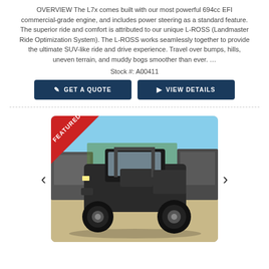OVERVIEW The L7x comes built with our most powerful 694cc EFI commercial-grade engine, and includes power steering as a standard feature. The superior ride and comfort is attributed to our unique L-ROSS (Landmaster Ride Optimization System). The L-ROSS works seamlessly together to provide the ultimate SUV-like ride and drive experience. Travel over bumps, hills, uneven terrain, and muddy bogs smoother than ever. …
Stock #: A00411
[Figure (other): Two dark blue buttons: 'GET A QUOTE' (with document icon) and 'VIEW DETAILS' (with tag icon)]
[Figure (photo): Photo of a black UTV/side-by-side utility vehicle (Landmaster L7x) parked on a gravel/dirt area outdoors with other equipment visible in the background. A red 'FEATURED' banner is shown in the top-left corner of the photo.]